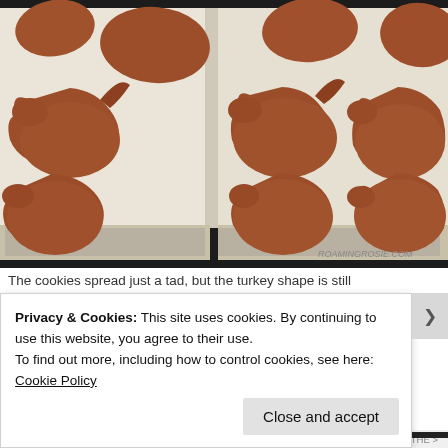[Figure (photo): Overhead photo of turkey-shaped gingerbread/spice cookies on parchment paper lined baking sheets. The cookies are brown and spread slightly. Two baking sheets are visible side by side. The website watermark 'ROAMINGROSIΕ.COM' appears in the bottom right corner of the photo.]
The cookies spread just a tad, but the turkey shape is still
Privacy & Cookies: This site uses cookies. By continuing to use this website, you agree to their use.
To find out more, including how to control cookies, see here: Cookie Policy
Close and accept